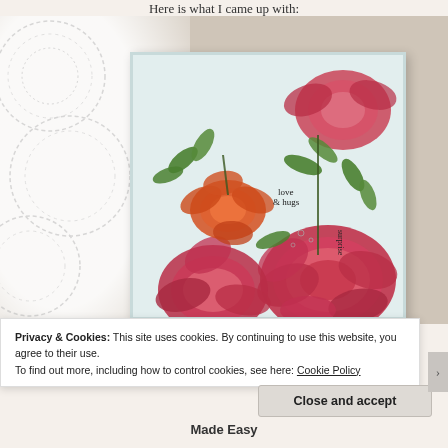Here is what I came up with:
[Figure (photo): A handmade greeting card with stamped and colored peony and floral images in red, pink, and green, with text 'love & hugs' and 'surprise', placed on a white crocheted doily on a linen background.]
Privacy & Cookies: This site uses cookies. By continuing to use this website, you agree to their use.
To find out more, including how to control cookies, see here: Cookie Policy
Close and accept
Made Easy